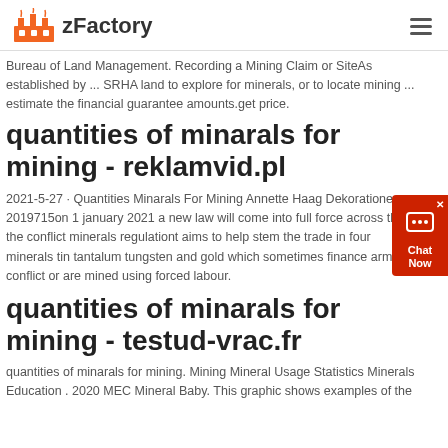zFactory
Bureau of Land Management. Recording a Mining Claim or SiteAs established by ... SRHA land to explore for minerals, or to locate mining ... estimate the financial guarantee amounts.get price.
quantities of minarals for mining - reklamvid.pl
2021-5-27 · Quantities Minarals For Mining Annette Haag Dekorationen. 2019715on 1 january 2021 a new law will come into full force across the eu the conflict minerals regulationt aims to help stem the trade in four minerals tin tantalum tungsten and gold which sometimes finance armed conflict or are mined using forced labour.
quantities of minarals for mining - testud-vrac.fr
quantities of minarals for mining. Mining Mineral Usage Statistics Minerals Education . 2020 MEC Mineral Baby. This graphic shows examples of the